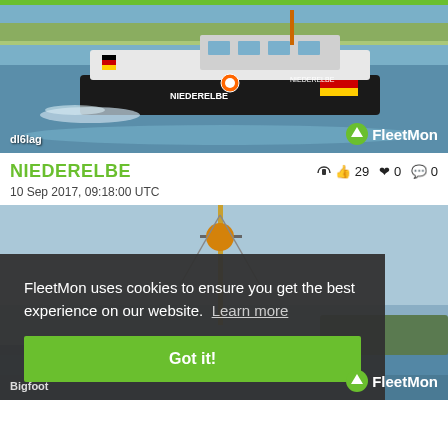[Figure (photo): A white patrol/customs vessel named NIEDERELBE speeding across water, with German flag visible, orange life ring, black hull with red and yellow stripes. Watermark 'dl6lag' bottom left and FleetMon logo bottom right.]
NIEDERELBE
👍 29  ❤ 0  💬 0
10 Sep 2017, 09:18:00 UTC
[Figure (photo): Second vessel photo showing a mast/antenna with orange ball against a blue sky, coastal scenery in background. Cookie consent overlay with FleetMon logo bottom right and 'Bigfoot' credit bottom left.]
FleetMon uses cookies to ensure you get the best experience on our website.  Learn more
Got it!